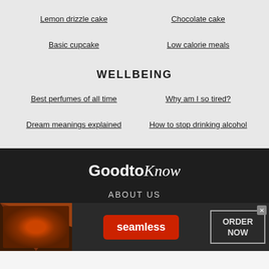Lemon drizzle cake
Chocolate cake
Basic cupcake
Low calorie meals
WELLBEING
Best perfumes of all time
Why am I so tired?
Dream meanings explained
How to stop drinking alcohol
GoodtoKnow
ABOUT US
[Figure (screenshot): Seamless food delivery advertisement banner with pizza image, Seamless logo button in red, and ORDER NOW button]